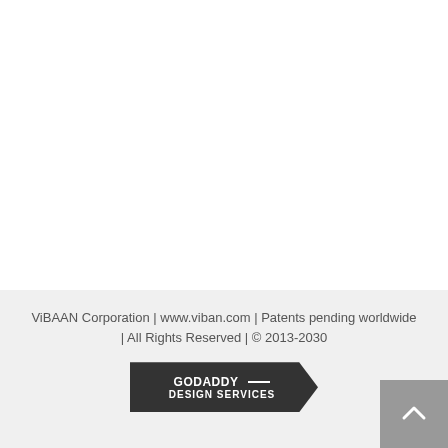ViBAAN Corporation | www.viban.com | Patents pending worldwide | All Rights Reserved | © 2013-2030
[Figure (logo): GoDaddy Design Services badge/logo — dark grey arrow-shaped badge with text GODADDY — DESIGN SERVICES in white bold letters]